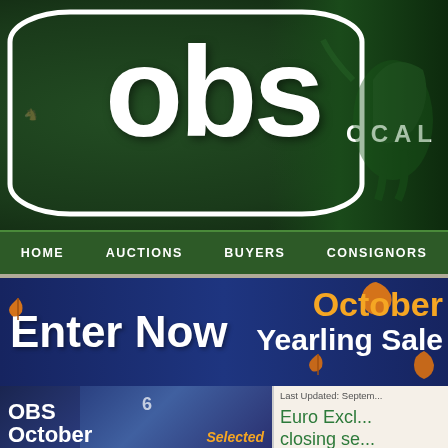[Figure (logo): OBS (Ocala Breeders' Sales) logo on dark green background with horse and jockey silhouette. White rounded rectangle outline with large white OBS text. OCAL text visible on right side.]
HOME   AUCTIONS   BUYERS   CONSIGNORS
[Figure (infographic): Dark navy blue banner with 'Enter Now' text on left and 'October Yearling Sale' on right with orange autumn leaf decorations]
[Figure (photo): OBS October promotional image with horse racing photo and 'OBS October' text overlay in white, 'Selected' in orange italic]
Last Updated: Septem...
Euro Excl... closing se...